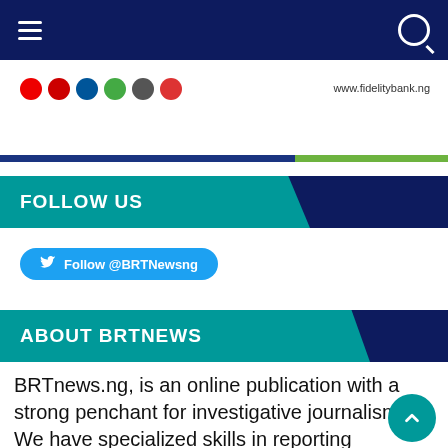Navigation bar with hamburger menu and search icon
[Figure (logo): Fidelity Bank banner with social media icons and www.fidelitybank.ng URL]
FOLLOW US
Follow @BRTNewsng
ABOUT BRTNEWS
BRTnews.ng, is an online publication with a strong penchant for investigative journalism. We have specialized skills in reporting business and economy globally but more particularly,